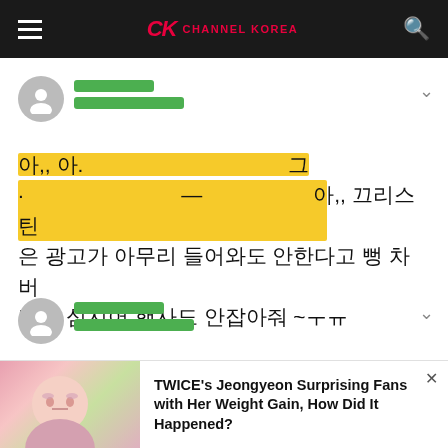CHANNEL KOREA
[Figure (screenshot): User comment with green-redacted username and avatar]
아,, 끄리스틴은 광고가 아무리 들어와도 안한다고 뻥 차버리고 심지어 행사도 안잡아줘 ~ㅜㅠ
[Figure (screenshot): Second user comment with green-redacted username and avatar]
TWICE's Jeongyeon Surprising Fans with Her Weight Gain, How Did It Happened?